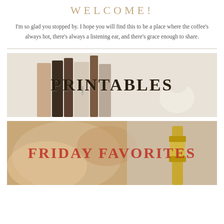WELCOME!
I'm so glad you stopped by. I hope you will find this to be a place where the coffee's always hot, there's always a listening ear, and there's grace enough to share.
[Figure (photo): Photo of books with text overlay reading PRINTABLES in bold dark letters]
[Figure (photo): Photo of food and lifestyle items with text overlay reading FRIDAY FAVORITES in bold red letters]